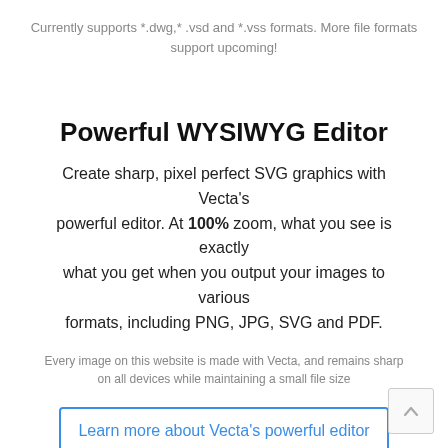Currently supports *.dwg,* .vsd and *.vss formats. More file formats support upcoming!
Powerful WYSIWYG Editor
Create sharp, pixel perfect SVG graphics with Vecta's powerful editor. At 100% zoom, what you see is exactly what you get when you output your images to various formats, including PNG, JPG, SVG and PDF.
Every image on this website is made with Vecta, and remains sharp on all devices while maintaining a small file size
Learn more about Vecta's powerful editor